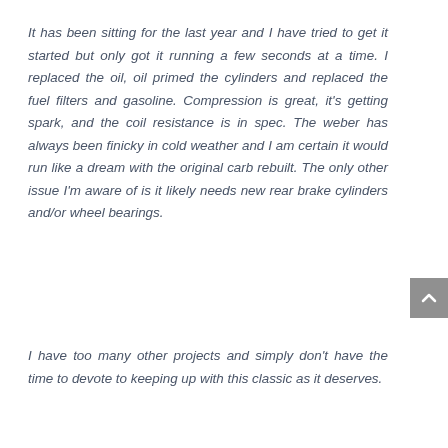It has been sitting for the last year and I have tried to get it started but only got it running a few seconds at a time. I replaced the oil, oil primed the cylinders and replaced the fuel filters and gasoline. Compression is great, it's getting spark, and the coil resistance is in spec. The weber has always been finicky in cold weather and I am certain it would run like a dream with the original carb rebuilt. The only other issue I'm aware of is it likely needs new rear brake cylinders and/or wheel bearings.
I have too many other projects and simply don't have the time to devote to keeping up with this classic as it deserves.